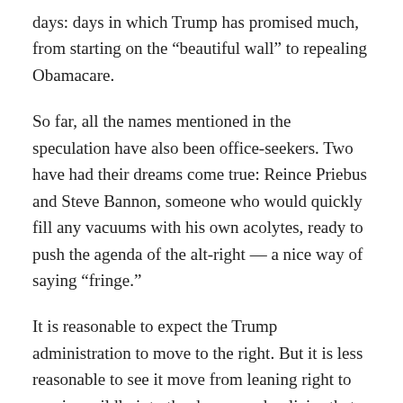days: days in which Trump has promised much, from starting on the “beautiful wall” to repealing Obamacare.
So far, all the names mentioned in the speculation have also been office-seekers. Two have had their dreams come true: Reince Priebus and Steve Bannon, someone who would quickly fill any vacuums with his own acolytes, ready to push the agenda of the alt-right — a nice way of saying “fringe.”
It is reasonable to expect the Trump administration to move to the right. But it is less reasonable to see it move from leaning right to veering wildly into the dogma and policies that are outside of public tolerance. In short, leaning toward Reagan is fine; toward George Wallace is not. Leaning toward